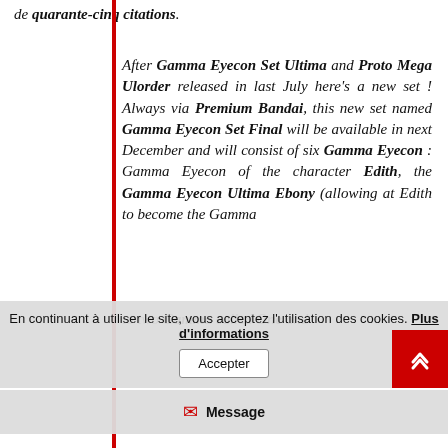de quarante-cinq citations.
After Gamma Eyecon Set Ultima and Proto Mega Ulorder released in last July here's a new set ! Always via Premium Bandai, this new set named Gamma Eyecon Set Final will be available in next December and will consist of six Gamma Eyecon : Gamma Eyecon of the character Edith, the Gamma Eyecon Ultima Ebony (allowing at Edith to become the Gamma
to two Gamma called One and
En continuant à utiliser le site, vous acceptez l'utilisation des cookies. Plus d'informations
Accepter
Message